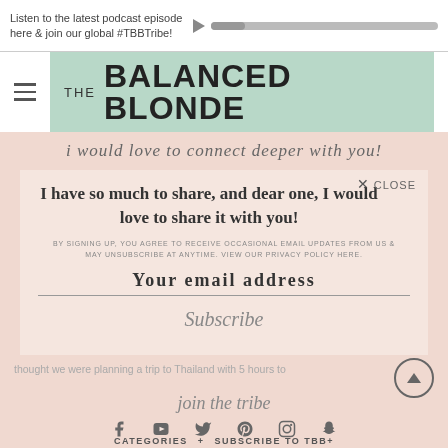Listen to the latest podcast episode here & join our global #TBBTribe!
THE BALANCED BLONDE
i would love to connect deeper with you!
I have so much to share, and dear one, I would love to share it with you!
BY SIGNING UP, YOU AGREE TO RECEIVE OCCASIONAL EMAIL UPDATES FROM US & MAY UNSUBSCRIBE AT ANYTIME. VIEW OUR PRIVACY POLICY HERE.
Your email address
Subscribe
join the tribe
CATEGORIES + SUBSCRIBE TO TBB+